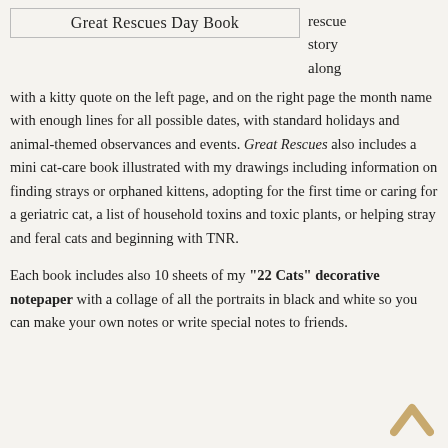Great Rescues Day Book
rescue story along with a kitty quote on the left page, and on the right page the month name with enough lines for all possible dates, with standard holidays and animal-themed observances and events. Great Rescues also includes a mini cat-care book illustrated with my drawings including information on finding strays or orphaned kittens, adopting for the first time or caring for a geriatric cat, a list of household toxins and toxic plants, or helping stray and feral cats and beginning with TNR.
Each book includes also 10 sheets of my "22 Cats" decorative notepaper with a collage of all the portraits in black and white so you can make your own notes or write special notes to friends.